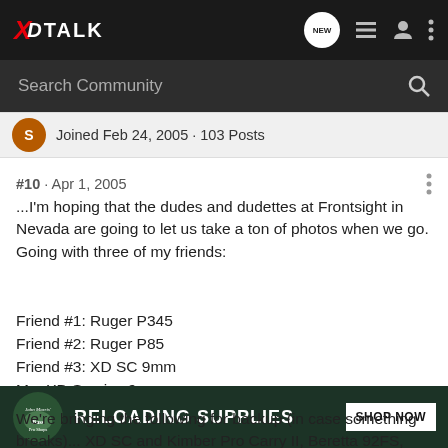XO TALK - navigation bar with logo and icons
Search Community
Joined Feb 24, 2005 · 103 Posts
#10 · Apr 1, 2005
...I'm hoping that the dudes and dudettes at Frontsight in Nevada are going to let us take a ton of photos when we go. Going with three of my friends:
Friend #1: Ruger P345
Friend #2: Ruger P85
Friend #3: XD SC 9mm
Me: XD Service 9
We're bringing the following for backup (in case something breaks)... XD SC and Kimber Pro Carry II, Beretta 92FS, and and...
[Figure (screenshot): Bass Pro Shops ad banner: RELOADING SUPPLIES SHOP NOW]